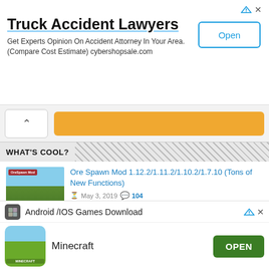[Figure (screenshot): Advertisement banner: Truck Accident Lawyers with Open button]
[Figure (screenshot): UI strip with chevron and orange bar]
WHAT'S COOL?
[Figure (screenshot): Thumbnail for Ore Spawn Mod article]
Ore Spawn Mod 1.12.2/1.11.2/1.10.2/1.7.10 (Tons of New Functions)
May 3, 2019 104
[Figure (screenshot): Thumbnail for BiblioCraft Mod article]
BiblioCraft Mod 1.12.2/1.11.2/1.10.2
October 27, 2019 93
advertisement
[Figure (screenshot): Bottom advertisement: Android/IOS Games Download - Minecraft with OPEN button]